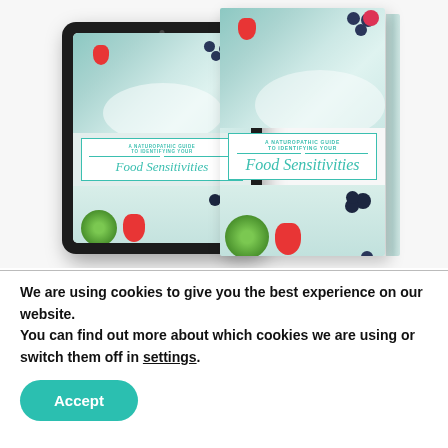[Figure (illustration): A tablet device (iPad-like) on the left and a physical book on the right, both showing the cover of 'A Naturopathic Guide to Identifying Your Food Sensitivities' with fruit bowl imagery and teal typography.]
We are using cookies to give you the best experience on our website.
You can find out more about which cookies we are using or switch them off in settings.
Accept